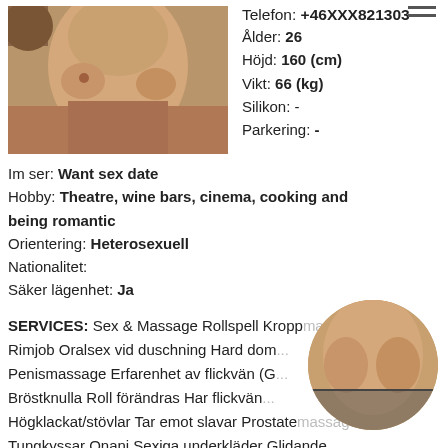[Figure (photo): Partial nude photo of a person, shown from the torso area, warm-toned indoor lighting]
Telefon: +46XXX821303
Ålder: 26
Höjd: 160 (cm)
Vikt: 66 (kg)
Silikon: -
Parkering: -
Im ser: Want sex date
Hobby: Theatre, wine bars, cinema, cooking and being romantic
Orientering: Heterosexuell
Nationalitet:
Säker lägenhet: Ja
SERVICES: Sex & Massage Rollspell Kroppsmassage Rimjob Oralsex vid duschning Hard dom... Penismassage Erfarenhet av flickvän (G... Bröstknulla Roll förändras Har flickvän... Högklackat/stövlar Tar emot slavar Prostatemassage Tungkyssar Onani Sexiga underkläder Glidande...
[Figure (photo): Circular thumbnail of a partial nude torso photo]